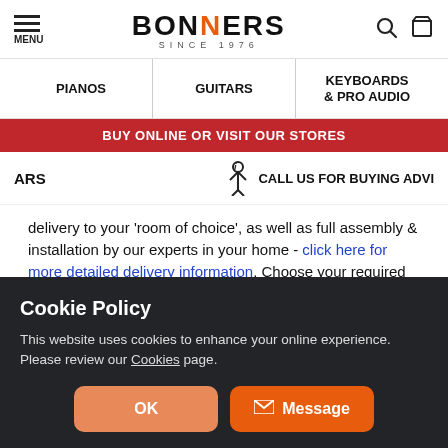BONNERS SINCE 1976
PIANOS | GUITARS | KEYBOARDS & PRO AUDIO
BUY ONLINE OR VISIT OUR STORES
ARS   CALL US FOR BUYING ADVI
delivery to your 'room of choice', as well as full assembly & installation by our experts in your home - click here for more detailed delivery information. Choose your required delivery service from the dropdown box above & any applicable charges will be
Cookie Policy
This website uses cookies to enhance your online experience. Please review our Cookies page.
OK
Message